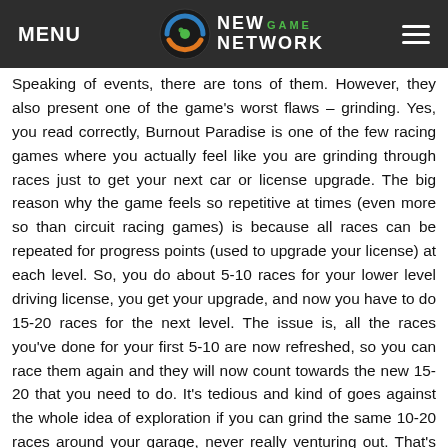MENU | NEW GAME NETWORK
Speaking of events, there are tons of them. However, they also present one of the game’s worst flaws – grinding. Yes, you read correctly, Burnout Paradise is one of the few racing games where you actually feel like you are grinding through races just to get your next car or license upgrade. The big reason why the game feels so repetitive at times (even more so than circuit racing games) is because all races can be repeated for progress points (used to upgrade your license) at each level. So, you do about 5-10 races for your lower level driving license, you get your upgrade, and now you have to do 15-20 races for the next level. The issue is, all the races you’ve done for your first 5-10 are now refreshed, so you can race them again and they will now count towards the new 15-20 that you need to do. It’s tedious and kind of goes against the whole idea of exploration if you can grind the same 10-20 races around your garage, never really venturing out. That’s not to say there aren’t many other reasons to explore.